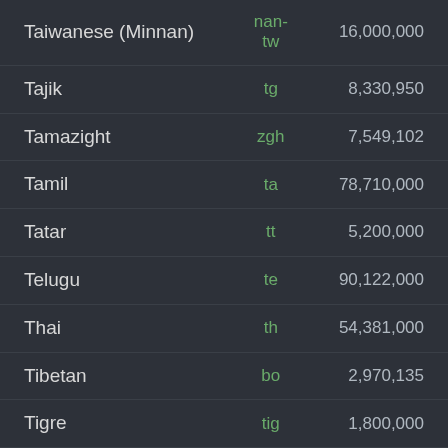| Language | Code | Speakers |
| --- | --- | --- |
| Taiwanese (Minnan) | nan-tw | 16,000,000 |
| Tajik | tg | 8,330,950 |
| Tamazight | zgh | 7,549,102 |
| Tamil | ta | 78,710,000 |
| Tatar | tt | 5,200,000 |
| Telugu | te | 90,122,000 |
| Thai | th | 54,381,000 |
| Tibetan | bo | 2,970,135 |
| Tigre | tig | 1,800,000 |
| Ti... | ... | ... |